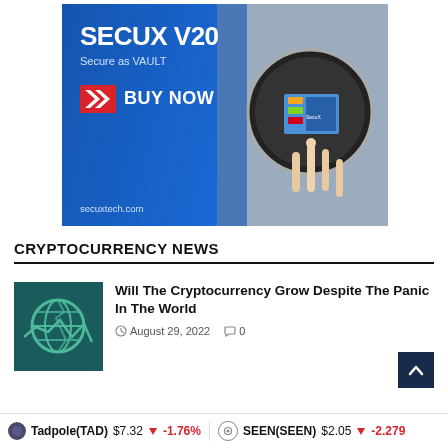[Figure (screenshot): Advertisement banner for SecuX V20 hardware wallet. Blue gradient background with text 'SECUX V20', 'Secure as VAULT', red button with arrows and 'BUY NOW' text, website 'secuxtech.com', and photo of hand touching a round device.]
CRYPTOCURRENCY NEWS
Will The Cryptocurrency Grow Despite The Panic In The World
August 29, 2022  0
Tadpole(TAD) $7.32  -1.76%   SEEN(SEEN) $2.05  -2.279%